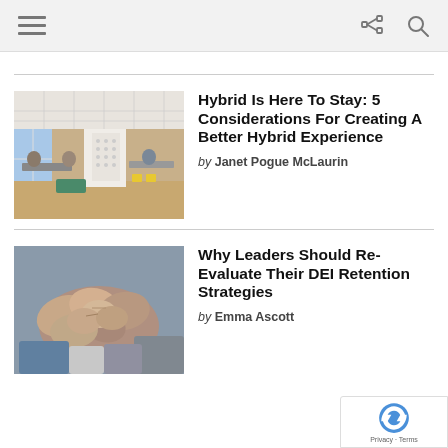Navigation bar with menu, share, and search icons
[Figure (photo): Modern open office space with people working at tables, large windows, bright interior]
Hybrid Is Here To Stay: 5 Considerations For Creating A Better Hybrid Experience
by Janet Pogue McLaurin
[Figure (photo): Multiple hands joined in a fist bump, diversity and teamwork concept]
Why Leaders Should Re-Evaluate Their DEI Retention Strategies
by Emma Ascott